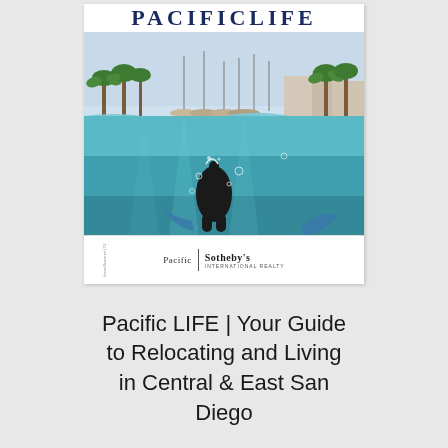[Figure (photo): Magazine cover for 'PACIFIC LIFE' showing an underwater/above-water split photo of a marina with sailboats, palm trees, and a diver's fins visible underwater. The cover has a masthead reading 'PACIFIC LIFE' and a Pacific Sotheby's International Realty logo at the bottom.]
Pacific LIFE | Your Guide to Relocating and Living in Central & East San Diego